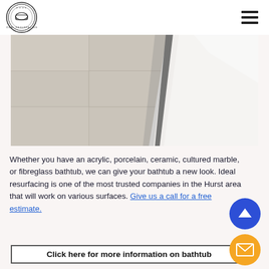Ideal Resurfacing logo and navigation menu
[Figure (photo): Close-up photo of a bathtub edge meeting tiled floor — grey/beige tiles on the left and a white glossy bathtub surface on the right, showing the corner joint between tile and tub.]
Whether you have an acrylic, porcelain, ceramic, cultured marble, or fibreglass bathtub, we can give your bathtub a new look. Ideal resurfacing is one of the most trusted companies in the Hurst area that will work on various surfaces. Give us a call for a free estimate.
Click here for more information on bathtub